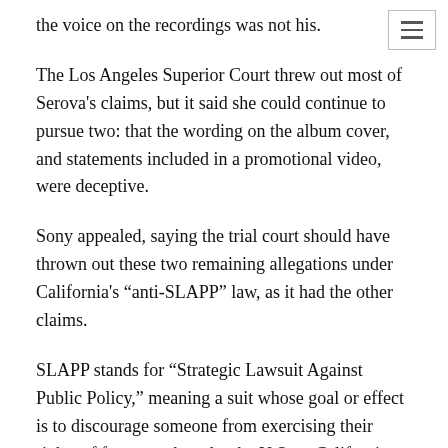the voice on the recordings was not his.
The Los Angeles Superior Court threw out most of Serova's claims, but it said she could continue to pursue two: that the wording on the album cover, and statements included in a promotional video, were deceptive.
Sony appealed, saying the trial court should have thrown out these two remaining allegations under California's “anti-SLAPP” law, as it had the other claims.
SLAPP stands for “Strategic Lawsuit Against Public Policy,” meaning a suit whose goal or effect is to discourage someone from exercising their rights of free speech under the U.S. or California constitutions.